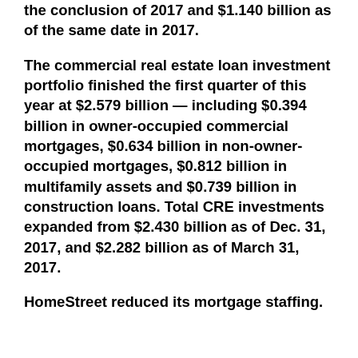the conclusion of 2017 and $1.140 billion as of the same date in 2017.
The commercial real estate loan investment portfolio finished the first quarter of this year at $2.579 billion — including $0.394 billion in owner-occupied commercial mortgages, $0.634 billion in non-owner-occupied mortgages, $0.812 billion in multifamily assets and $0.739 billion in construction loans. Total CRE investments expanded from $2.430 billion as of Dec. 31, 2017, and $2.282 billion as of March 31, 2017.
HomeStreet reduced its mortgage staffing.